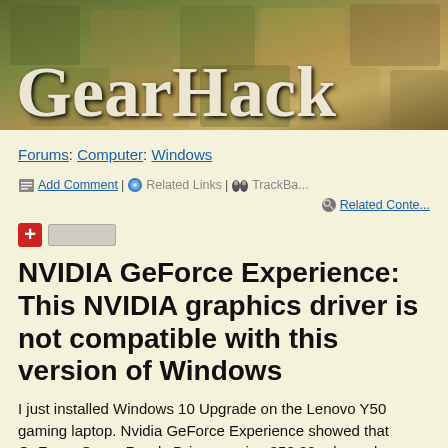[Figure (illustration): GearHack website banner with puzzle piece background (olive/tan tones) and large serif white text reading 'GearHack']
Forums: Computer: Windows
Add Comment | Related Links | TrackBa... | Related Conte...
[+ ] (plus button and input field)
NVIDIA GeForce Experience: This NVIDIA graphics driver is not compatible with this version of Windows
I just installed Windows 10 Upgrade on the Lenovo Y50 gaming laptop. Nvidia GeForce Experience showed that GeForce Game Ready Driver version 353.30 released on 11/10/2015 is available...